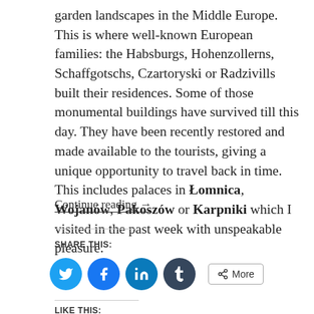garden landscapes in the Middle Europe. This is where well-known European families: the Habsburgs, Hohenzollerns, Schaffgotschs, Czartoryski or Radzivills built their residences. Some of those monumental buildings have survived till this day. They have been recently restored and made available to the tourists, giving a unique opportunity to travel back in time. This includes palaces in Łomnica, Wojanów, Pakoszów or Karpniki which I visited in the past week with unspeakable pleasure.
Continue reading →
SHARE THIS:
[Figure (infographic): Social sharing buttons: Twitter (blue circle), Facebook (blue circle), LinkedIn (teal circle), Tumblr (dark blue circle), and a More button with share icon]
LIKE THIS: